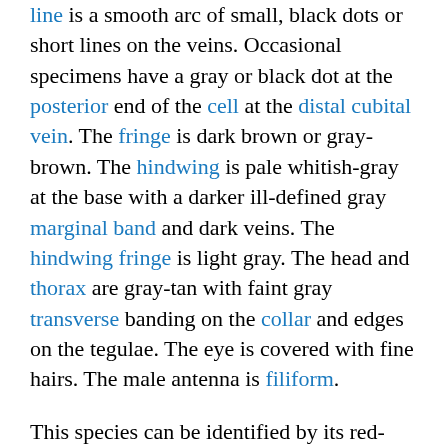line is a smooth arc of small, black dots or short lines on the veins. Occasional specimens have a gray or black dot at the posterior end of the cell at the distal cubital vein. The fringe is dark brown or gray-brown. The hindwing is pale whitish-gray at the base with a darker ill-defined gray marginal band and dark veins. The hindwing fringe is light gray. The head and thorax are gray-tan with faint gray transverse banding on the collar and edges on the tegulae. The eye is covered with fine hairs. The male antenna is filiform.
This species can be identified by its red-brown-, tan-, and light gray-streaked forewing with a postmedial line of an even row of spots in combination with a pale hindwing base. It is only likely to be confused with Leucania dia and Leucania commoides, both of which have gray hindwings. Leucania commoides is larger and has dark gray along the cubital vein and a postmedial line...